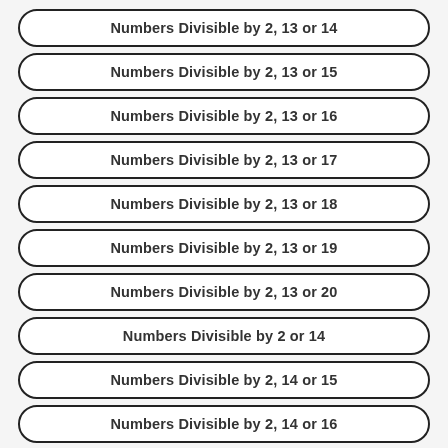Numbers Divisible by 2, 13 or 14
Numbers Divisible by 2, 13 or 15
Numbers Divisible by 2, 13 or 16
Numbers Divisible by 2, 13 or 17
Numbers Divisible by 2, 13 or 18
Numbers Divisible by 2, 13 or 19
Numbers Divisible by 2, 13 or 20
Numbers Divisible by 2 or 14
Numbers Divisible by 2, 14 or 15
Numbers Divisible by 2, 14 or 16
Numbers Divisible by 2, 14 or 17